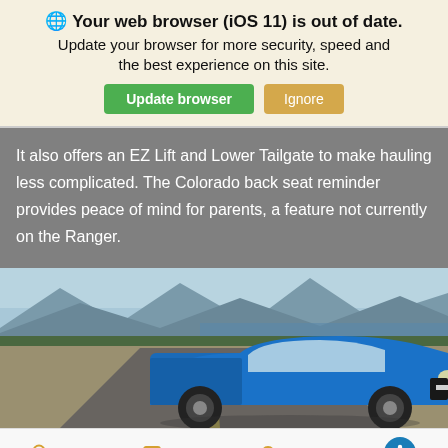🌐 Your web browser (iOS 11) is out of date. Update your browser for more security, speed and the best experience on this site. [Update browser] [Ignore]
It also offers an EZ Lift and Lower Tailgate to make hauling less complicated. The Colorado back seat reminder provides peace of mind for parents, a feature not currently on the Ranger.
[Figure (photo): Blue Chevrolet Colorado pickup truck driving on a road with mountains and a lake in the background]
Search   Contact   Glovebox